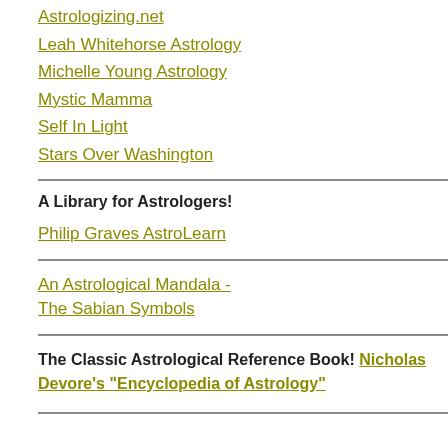Astrologizing.net
Leah Whitehorse Astrology
Michelle Young Astrology
Mystic Mamma
Self In Light
Stars Over Washington
A Library for Astrologers!
Philip Graves AstroLearn
An Astrological Mandala - The Sabian Symbols
The Classic Astrological Reference Book! Nicholas Devore's "Encyclopedia of Astrology"
This is our Ete Na Ou tim on Ea is ma use as a pla wh our Ete Lo Wi Co has to trai ou